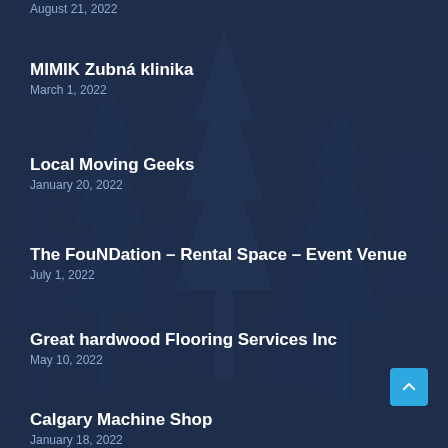August 21, 2022
MIMIK Zubná klinika
March 1, 2022
Local Moving Geeks
January 20, 2022
The FouNDation – Rental Space – Event Venue
July 1, 2022
Great hardwood Flooring Services Inc
May 10, 2022
Calgary Machine Shop
January 18, 2022